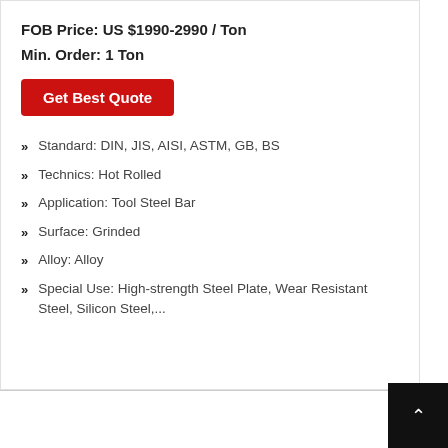FOB Price: US $1990-2990 / Ton
Min. Order: 1 Ton
Get Best Quote
Standard: DIN, JIS, AISI, ASTM, GB, BS
Technics: Hot Rolled
Application: Tool Steel Bar
Surface: Grinded
Alloy: Alloy
Special Use: High-strength Steel Plate, Wear Resistant Steel, Silicon Steel,...